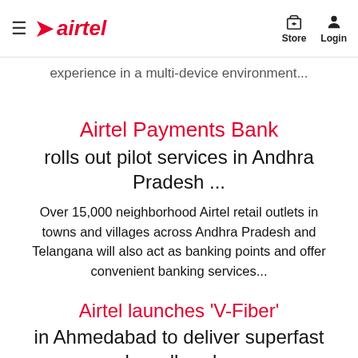airtel | Store | Login
experience in a multi-device environment...
Airtel Payments Bank rolls out pilot services in Andhra Pradesh ...
Over 15,000 neighborhood Airtel retail outlets in towns and villages across Andhra Pradesh and Telangana will also act as banking points and offer convenient banking services...
Airtel launches 'V-Fiber' in Ahmedabad to deliver superfast broadband...